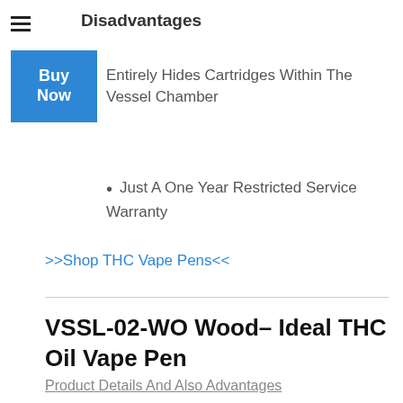Disadvantages
Entirely Hides Cartridges Within The Vessel Chamber
Just A One Year Restricted Service Warranty
>>Shop THC Vape Pens<<
VSSL-02-WO Wood– Ideal THC Oil Vape Pen
Product Details And Also Advantages